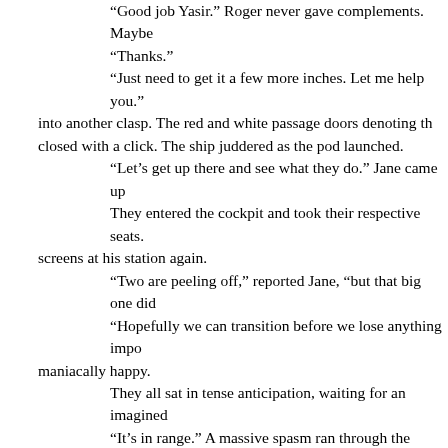“Good job Yasir.” Roger never gave complements. Maybe
“Thanks.”
“Just need to get it a few more inches. Let me help you.” into another clasp. The red and white passage doors denoting th closed with a click. The ship juddered as the pod launched.
“Let’s get up there and see what they do.” Jane came up
They entered the cockpit and took their respective seats. screens at his station again.
“Two are peeling off,” reported Jane, “but that big one did
“Hopefully we can transition before we lose anything impo maniacally happy.
They all sat in tense anticipation, waiting for an imagined
“It’s in range.” A massive spasm ran through the length o hard. No damage.”
“It’s pulling us in.” Yasir shuddered.
“Trans-point in ten seconds. Please prepare for transition ship’s computer barely registered.
“We are inside, telescopes obscured.” Yasir muttered.
“Transition.” Yasir never liked transitions before, they alw and his stomach twist. This time he was anticipating it joyfully be him the happy news.
“Whoa. Look at that.” Jane sent a screen around showing